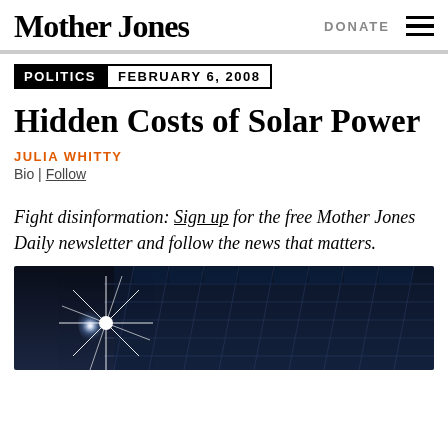Mother Jones | DONATE
POLITICS | FEBRUARY 6, 2008
Hidden Costs of Solar Power
JULIA WHITTY
Bio | Follow
Fight disinformation: Sign up for the free Mother Jones Daily newsletter and follow the news that matters.
[Figure (photo): Solar panels with a bright starburst light reflection, dark sky background]